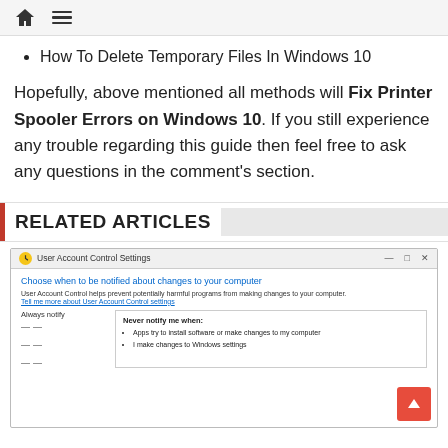Home | Menu
How To Delete Temporary Files In Windows 10
Hopefully, above mentioned all methods will Fix Printer Spooler Errors on Windows 10. If you still experience any trouble regarding this guide then feel free to ask any questions in the comment's section.
RELATED ARTICLES
[Figure (screenshot): User Account Control Settings dialog box showing 'Choose when to be notified about changes to your computer' with slider set to Never notify, showing options: Apps try to install software or make changes to my computer; I make changes to Windows settings]